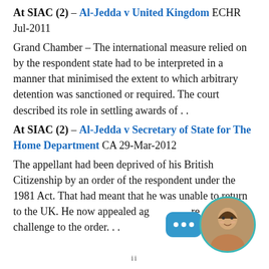At SIAC (2) – Al-Jedda v United Kingdom ECHR Jul-2011
Grand Chamber – The international measure relied on by the respondent state had to be interpreted in a manner that minimised the extent to which arbitrary detention was sanctioned or required. The court described its role in settling awards of . .
At SIAC (2) – Al-Jedda v Secretary of State for The Home Department CA 29-Mar-2012
The appellant had been deprived of his British Citizenship by an order of the respondent under the 1981 Act. That had meant that he was unable to return to the UK. He now appealed ag... re... of his challenge to the order. . .
At SIAC (2) – Secretary of State for The Home